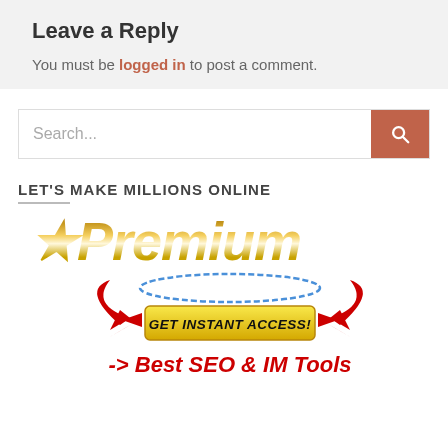Leave a Reply
You must be logged in to post a comment.
Search...
LET'S MAKE MILLIONS ONLINE
[Figure (illustration): Premium logo with golden gradient text, a 'GET INSTANT ACCESS!' yellow button flanked by red devil horns/arrows, and red bold italic text '-> Best SEO & IM Tools']